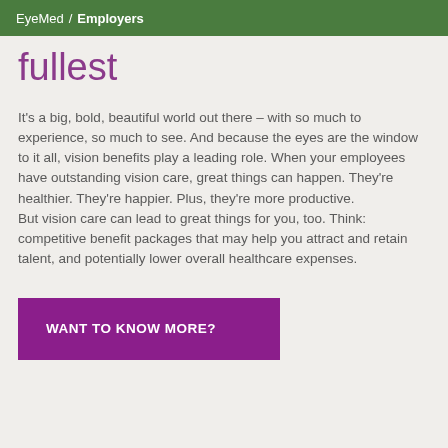EyeMed / Employers
fullest
It's a big, bold, beautiful world out there – with so much to experience, so much to see. And because the eyes are the window to it all, vision benefits play a leading role. When your employees have outstanding vision care, great things can happen. They're healthier. They're happier. Plus, they're more productive.
But vision care can lead to great things for you, too. Think: competitive benefit packages that may help you attract and retain talent, and potentially lower overall healthcare expenses.
WANT TO KNOW MORE?